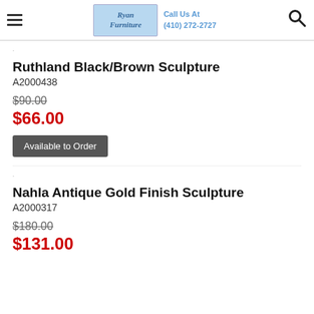Ryan Furniture | Call Us At (410) 272-2727
Ruthland Black/Brown Sculpture
A2000438
$90.00
$66.00
Available to Order
Nahla Antique Gold Finish Sculpture
A2000317
$180.00
$131.00